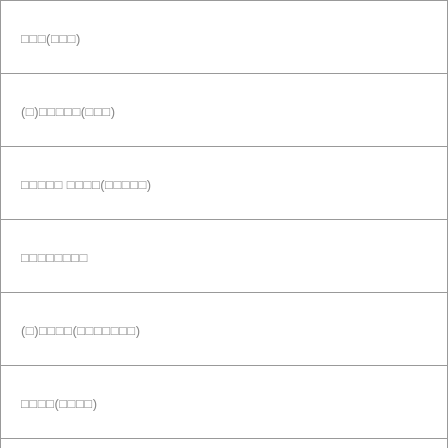| □□□(□□□) |
| (□)□□□□□(□□□) |
| □□□□□ □□□□(□□□□□) |
| □□□□□□□□ |
| (□)□□□□(□□□□□□□) |
| □□□□(□□□□) |
| □□□□□□□□□(□□□□□) |
| □□□□(□□□□) |
| □□□□□(□□□□□) |